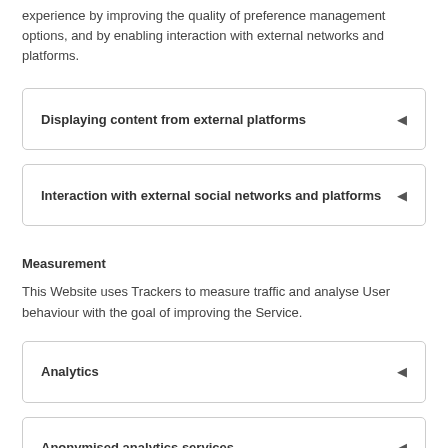experience by improving the quality of preference management options, and by enabling interaction with external networks and platforms.
Displaying content from external platforms
Interaction with external social networks and platforms
Measurement
This Website uses Trackers to measure traffic and analyse User behaviour with the goal of improving the Service.
Analytics
Anonymised analytics services